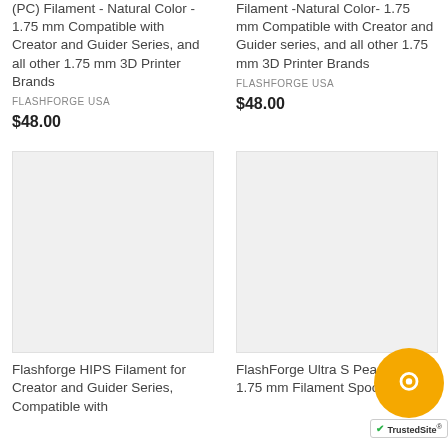(PC) Filament - Natural Color - 1.75 mm Compatible with Creator and Guider Series, and all other 1.75 mm 3D Printer Brands
FLASHFORGE USA
$48.00
Filament -Natural Color- 1.75 mm Compatible with Creator and Guider series, and all other 1.75 mm 3D Printer Brands
FLASHFORGE USA
$48.00
[Figure (photo): Product image placeholder - light gray square for Flashforge HIPS Filament]
[Figure (photo): Product image placeholder - light gray square for FlashForge Ultra S Pearl PLA]
Flashforge HIPS Filament for Creator and Guider Series, Compatible with
FlashForge Ultra S Pearl PLA 1.75 mm Filament Spool